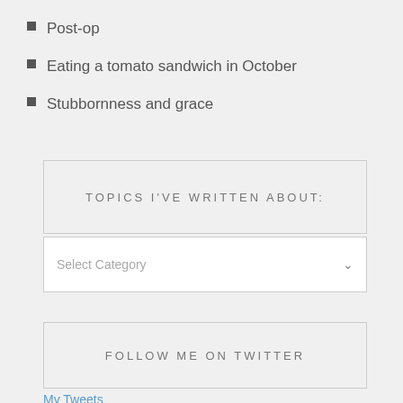Post-op
Eating a tomato sandwich in October
Stubbornness and grace
TOPICS I'VE WRITTEN ABOUT:
Select Category
FOLLOW ME ON TWITTER
My Tweets